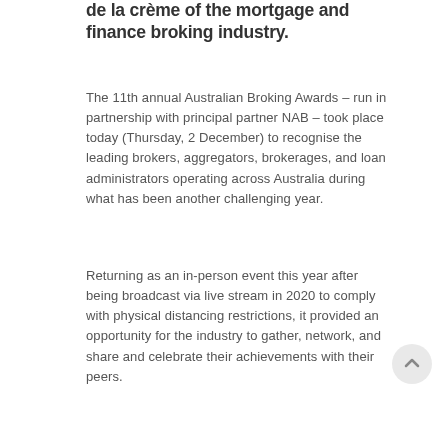de la crème of the mortgage and finance broking industry.
The 11th annual Australian Broking Awards – run in partnership with principal partner NAB – took place today (Thursday, 2 December) to recognise the leading brokers, aggregators, brokerages, and loan administrators operating across Australia during what has been another challenging year.
Returning as an in-person event this year after being broadcast via live stream in 2020 to comply with physical distancing restrictions, it provided an opportunity for the industry to gather, network, and share and celebrate their achievements with their peers.